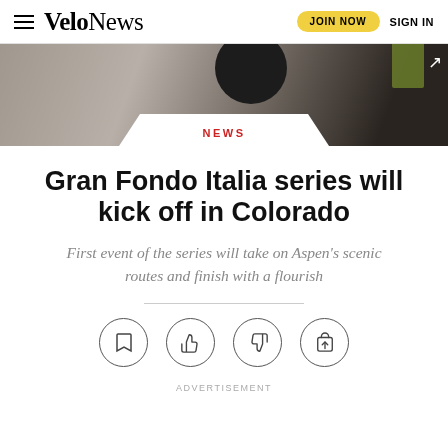VeloNews — JOIN NOW  SIGN IN
[Figure (photo): Hero image background with dark bicycle helmet and green item, with NEWS category badge overlay]
NEWS
Gran Fondo Italia series will kick off in Colorado
First event of the series will take on Aspen's scenic routes and finish with a flourish
[Figure (other): Row of four circular action icons: bookmark, thumbs up, thumbs down, share]
ADVERTISEMENT